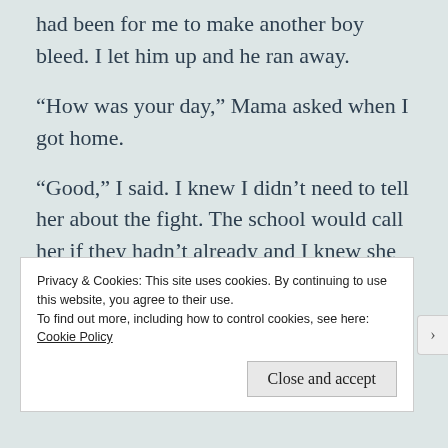had been for me to make another boy bleed. I let him up and he ran away.
“How was your day,” Mama asked when I got home.
“Good,” I said. I knew I didn’t need to tell her about the fight. The school would call her if they hadn’t already and I knew she was still too hung up on Daddy to even care. I walked out to the shop, pulled the c-clamp off the wall, and
Privacy & Cookies: This site uses cookies. By continuing to use this website, you agree to their use.
To find out more, including how to control cookies, see here: Cookie Policy
Close and accept